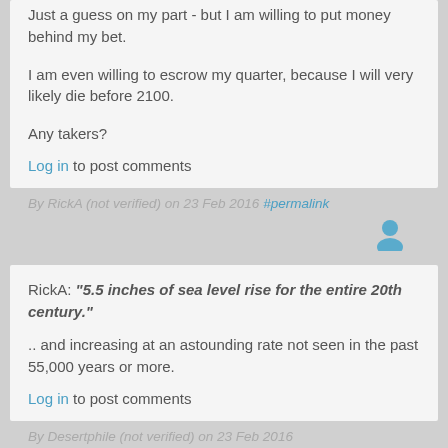Just a guess on my part - but I am willing to put money behind my bet.
I am even willing to escrow my quarter, because I will very likely die before 2100.
Any takers?
Log in to post comments
By RickA (not verified) on 23 Feb 2016 #permalink
RickA: "5.5 inches of sea level rise for the entire 20th century."
.. and increasing at an astounding rate not seen in the past 55,000 years or more.
Log in to post comments
By Desertphile (not verified) on 23 Feb 2016